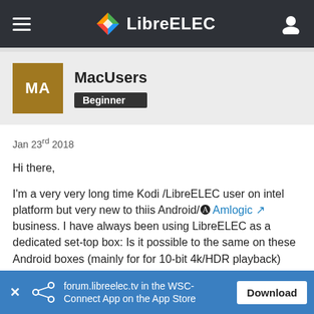LibreELEC
MacUsers
Beginner
Jan 23rd 2018
Hi there,

I'm a very very long time Kodi /LibreELEC user on intel platform but very new to thiis Android/ Amlogic business. I have always been using LibreELEC as a dedicated set-top box: Is it possible to the same on these Android boxes (mainly for for 10-bit 4k/HDR playback)

I was going through this post and fond myself lost on H/W
forum.libreelec.tv in the WSC-Connect App on the App Store  Download